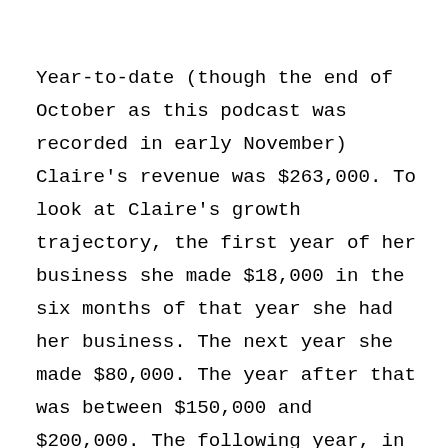Year-to-date (though the end of October as this podcast was recorded in early November) Claire's revenue was $263,000. To look at Claire's growth trajectory, the first year of her business she made $18,000 in the six months of that year she had her business. The next year she made $80,000. The year after that was between $150,000 and $200,000. The following year, in 2018, Claire's revenue was $200,000. In 2019 her revenue was $299,000. In 2020, Claire took off half the year for maternity leave and brought in $200,000 in the 6 months she was working. This year, she is at $263,000 on November 4th and does not have an end of year projection.